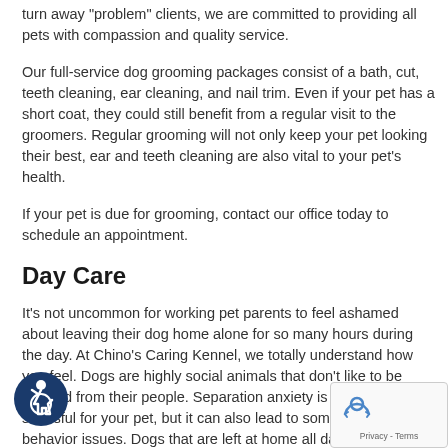turn away "problem" clients, we are committed to providing all pets with compassion and quality service.
Our full-service dog grooming packages consist of a bath, cut, teeth cleaning, ear cleaning, and nail trim. Even if your pet has a short coat, they could still benefit from a regular visit to the groomers. Regular grooming will not only keep your pet looking their best, ear and teeth cleaning are also vital to your pet's health.
If your pet is due for grooming, contact our office today to schedule an appointment.
Day Care
It's not uncommon for working pet parents to feel ashamed about leaving their dog home alone for so many hours during the day. At Chino's Caring Kennel, we totally understand how you feel. Dogs are highly social animals that don't like to be isolated from their people. Separation anxiety is not only stressful for your pet, but it can also lead to some serious behavior issues. Dogs that are left at home all day will seek an activity to channel their stress into. That could lead to arriving back home only to find that your favorite pair of shoes has been chewed up.